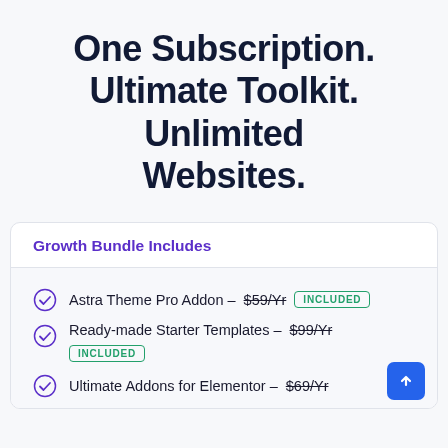One Subscription. Ultimate Toolkit. Unlimited Websites.
Growth Bundle Includes
Astra Theme Pro Addon – $59/Yr  INCLUDED
Ready-made Starter Templates – $99/Yr  INCLUDED
Ultimate Addons for Elementor – $69/Yr